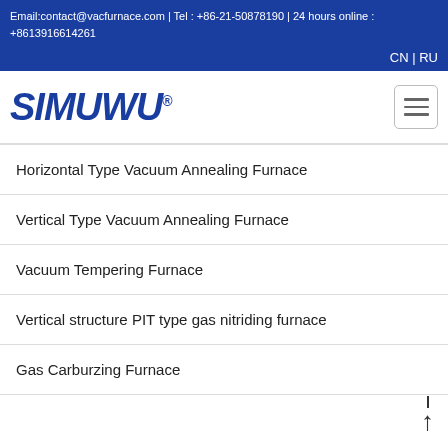Email:contact@vacfurnace.com | Tel : +86-21-50878190 | 24 hours online : +8613916614261
CN | RU
[Figure (logo): SIMUWU logo in bold italic blue letters with registered trademark symbol]
Horizontal Type Vacuum Annealing Furnace
Vertical Type Vacuum Annealing Furnace
Vacuum Tempering Furnace
Vertical structure PIT type gas nitriding furnace
Gas Carburzing Furnace